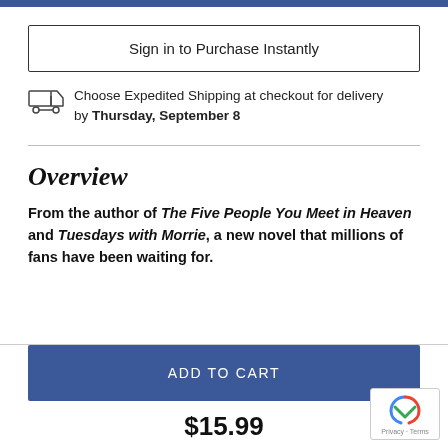Sign in to Purchase Instantly
Choose Expedited Shipping at checkout for delivery by Thursday, September 8
Overview
From the author of The Five People You Meet in Heaven and Tuesdays with Morrie, a new novel that millions of fans have been waiting for.
ADD TO CART
$15.99